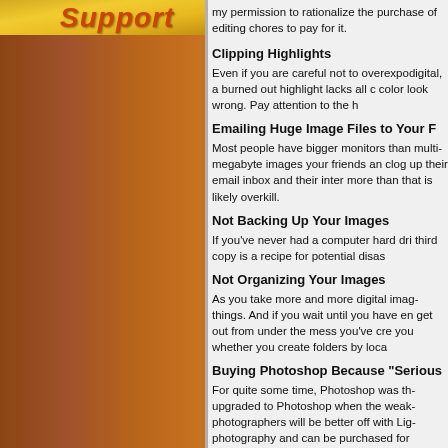Support
my permission to rationalize the purchase of editing chores to pay for it.
Clipping Highlights
Even if you are careful not to overexpose digital, a burned out highlight lacks all color look wrong. Pay attention to the h
Emailing Huge Image Files to Your F
Most people have bigger monitors than multi-megabyte images your friends and clog up their email inbox and their intern more than that is likely overkill.
Not Backing Up Your Images
If you've never had a computer hard drive third copy is a recipe for potential disaster.
Not Organizing Your Images
As you take more and more digital images things. And if you wait until you have enough get out from under the mess you've created you whether you create folders by location
Buying Photoshop Because "Serious
For quite some time, Photoshop was the upgraded to Photoshop when the weaknesses photographers will be better off with Lightroom photography and can be purchased for
Playing With Every New Filter, Plugin